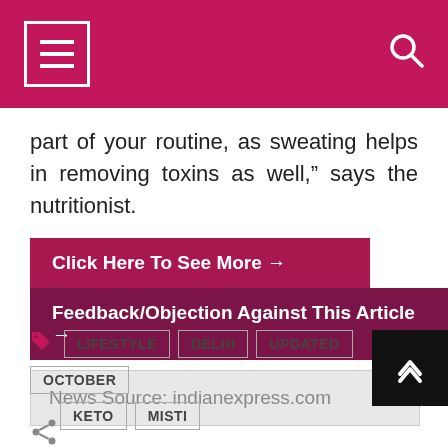Navigation header with hamburger menu and search icon
part of your routine, as sweating helps in removing toxins as well,” says the nutritionist.
Click Here To See More →
Feedback/Objection Against This Article →
News Source: indianexpress.com
LIFESTYLE  DELHI  UPDATED  OCTOBER  KETO  MISTI